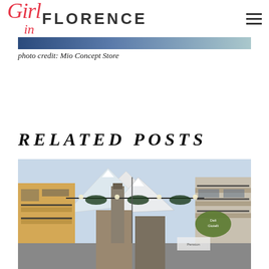Girl in Florence
[Figure (photo): Partial view of photo — top strip of what appears to be a blue/navy interior or exterior scene from Mio Concept Store]
photo credit: Mio Concept Store
RELATED POSTS
[Figure (photo): Street scene in an Alpine town with snow-capped mountains visible between buildings with balconies, hanging decorations, and shop signs]